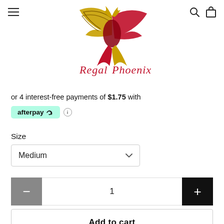[Figure (logo): Regal Phoenix logo — a phoenix bird in gold and red with cursive text 'Regal Phoenix' below]
or 4 interest-free payments of $1.75 with
[Figure (logo): Afterpay badge with teal/mint background showing 'afterpay' with link icon, followed by a small info icon]
Size
Medium
1
Add to cart